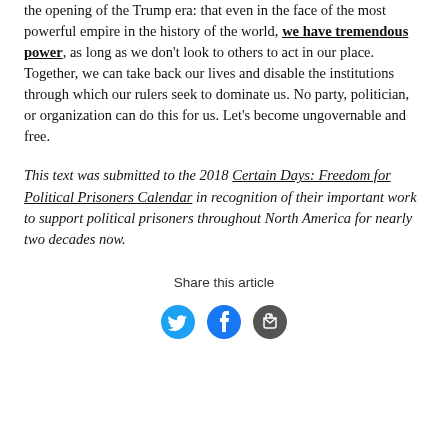the opening of the Trump era: that even in the face of the most powerful empire in the history of the world, we have tremendous power, as long as we don't look to others to act in our place. Together, we can take back our lives and disable the institutions through which our rulers seek to dominate us. No party, politician, or organization can do this for us. Let's become ungovernable and free.
This text was submitted to the 2018 Certain Days: Freedom for Political Prisoners Calendar in recognition of their important work to support political prisoners throughout North America for nearly two decades now.
Share this article